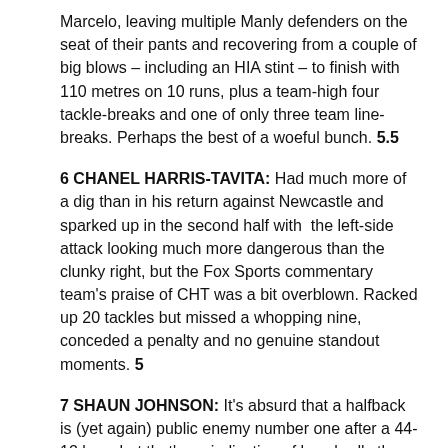Marcelo, leaving multiple Manly defenders on the seat of their pants and recovering from a couple of big blows – including an HIA stint – to finish with 110 metres on 10 runs, plus a team-high four tackle-breaks and one of only three team line-breaks. Perhaps the best of a woeful bunch. 5.5
6 CHANEL HARRIS-TAVITA: Had much more of a dig than in his return against Newcastle and sparked up in the second half with the left-side attack looking much more dangerous than the clunky right, but the Fox Sports commentary team's praise of CHT was a bit overblown. Racked up 20 tackles but missed a whopping nine, conceded a penalty and no genuine standout moments. 5
7 SHAUN JOHNSON: It's absurd that a halfback is (yet again) public enemy number one after a 44-12 loss, but that's an indication of how badly the Warriors' prodigal son is going. A couple of poor kicks put the team on the back foot early and a dud pass snuffed out one of their rare first-half ventures into Manly's half. Johnson couldn't turn it around, looked rattled and the Warriors' right-side attack was a mess under the heat of the Sea Eagles' swarming defence, with the veteran unable to create